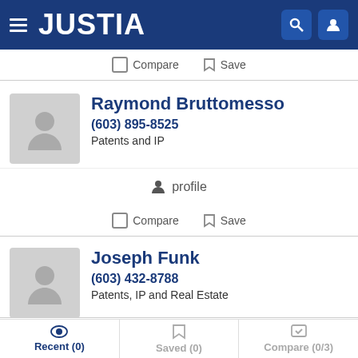[Figure (screenshot): Justia website navigation bar with hamburger menu, Justia logo, search icon and user icon on dark blue background]
Compare  Save
Raymond Bruttomesso
(603) 895-8525
Patents and IP
profile
Compare  Save
Joseph Funk
(603) 432-8788
Patents, IP and Real Estate
profile
Recent (0)  Saved (0)  Compare (0/3)